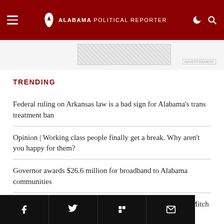ALABAMA POLITICAL REPORTER
TRENDING
Federal ruling on Arkansas law is a bad sign for Alabama's trans treatment ban
Opinion | Working class people finally get a break. Why aren't you happy for them?
Governor awards $26.6 million for broadband to Alabama communities
BCA to honor Sen. Richard Shelby with special guest Sen. Mitch McConnell
Social share bar: Facebook, Twitter, Flipboard, Email